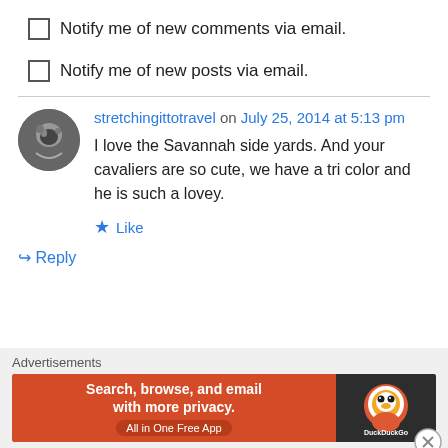Notify me of new comments via email.
Notify me of new posts via email.
stretchingittotravel on July 25, 2014 at 5:13 pm
I love the Savannah side yards. And your cavaliers are so cute, we have a tri color and he is such a lovey.
★ Like
↳ Reply
Advertisements
[Figure (screenshot): DuckDuckGo advertisement banner: orange background with text 'Search, browse, and email with more privacy. All in One Free App' and DuckDuckGo logo on dark background.]